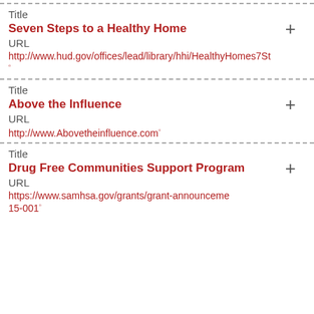Title
Seven Steps to a Healthy Home
URL
http://www.hud.gov/offices/lead/library/hhi/HealthyHomes7St
Title
Above the Influence
URL
http://www.Abovetheinfluence.com
Title
Drug Free Communities Support Program
URL
https://www.samhsa.gov/grants/grant-announceme 15-001